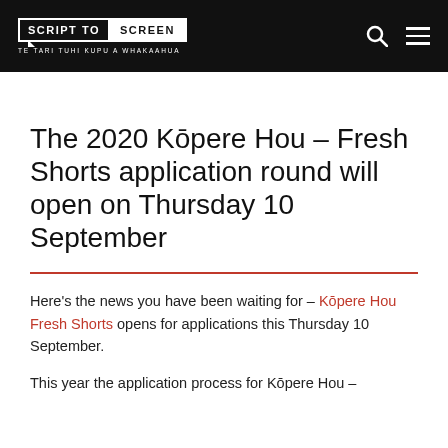SCRIPT TO SCREEN | TE TARI TUHI KUPU A WHAKAAHUA
The 2020 Kōpere Hou – Fresh Shorts application round will open on Thursday 10 September
Here's the news you have been waiting for – Kōpere Hou Fresh Shorts opens for applications this Thursday 10 September.
This year the application process for Kōpere Hou –